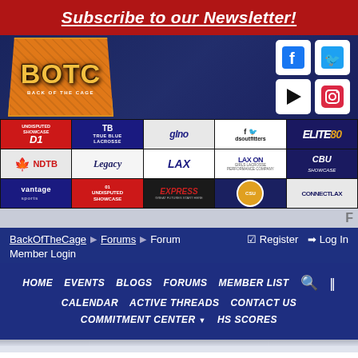Subscribe to our Newsletter!
[Figure (logo): Back Of The Cage (BOTC) logo - orange shield with BOTC letters]
[Figure (infographic): Sponsor logos grid: Undisputed Showcase D1, True Blue Lacrosse, GLNO Lacrosse, dsoutfitters, ELITE80, NDTB, Legacy Lacrosse, LAX, LAX ON Girls Lacrosse Performance Company, CBU Showcase, Vantage Sports, 01 Undisputed Showcase, Express, CSU, ConnectLax]
BackOfTheCage > Forums > Forum
Register  Log In
Member Login
HOME   EVENTS   BLOGS   FORUMS   MEMBER LIST   CALENDAR   ACTIVE THREADS   CONTACT US   COMMITMENT CENTER   HS SCORES